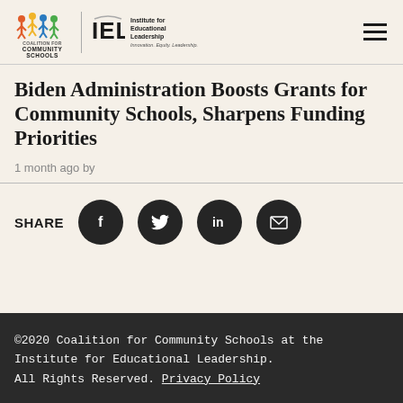Coalition for Community Schools / IEL - Institute for Educational Leadership. Innovation. Equity. Leadership.
Biden Administration Boosts Grants for Community Schools, Sharpens Funding Priorities
1 month ago by
[Figure (infographic): Social share bar with SHARE label and four icon buttons: Facebook (f), Twitter (bird), LinkedIn (in), Email (envelope)]
©2020 Coalition for Community Schools at the Institute for Educational Leadership. All Rights Reserved. Privacy Policy